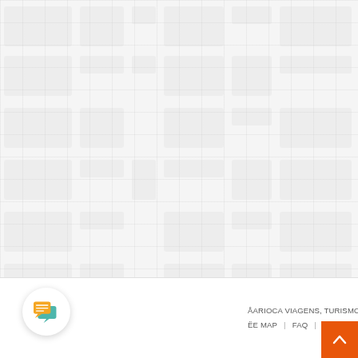[Figure (screenshot): Light gray grid/block pattern background filling the upper portion of the page]
[Figure (illustration): Chat bubble icon in a white circular button at lower left]
ARIOCA VIAGENS, TURISMO E EVENTOS. ALL RIGHTS RESERVED.  |  E MAP  |  FAQ  |  PRIVACY  |  LANGUAGE  |
[Figure (illustration): Orange scroll-to-top button with upward chevron at bottom right]